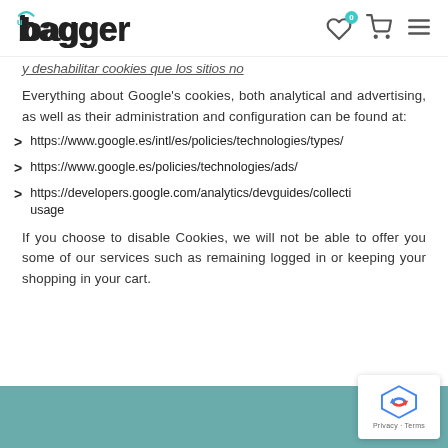ubagger [logo with heart/cart/menu icons]
y deshabilitar cookies que los sitios no
Everything about Google's cookies, both analytical and advertising, as well as their administration and configuration can be found at:
https://www.google.es/intl/es/policies/technologies/types/
https://www.google.es/policies/technologies/ads/
https://developers.google.com/analytics/devguides/collectio usage
If you choose to disable Cookies, we will not be able to offer you some of our services such as remaining logged in or keeping your shopping in your cart.